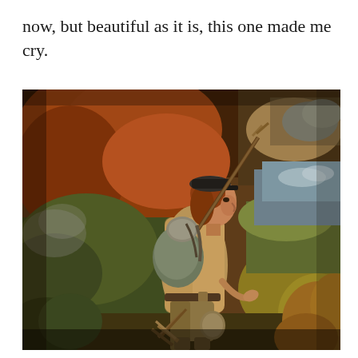now, but beautiful as it is, this one made me cry.
[Figure (illustration): A classical oil painting depicting a young boy soldier or drummer boy in profile, facing right, carrying a large backpack/knapsack and rifle equipment over his shoulder. He wears a cap and a loose jacket with a belt. The background features autumnal orange and red foliage on the left, and a landscape with blue sky on the right. Warm golden and amber tones dominate the painting.]